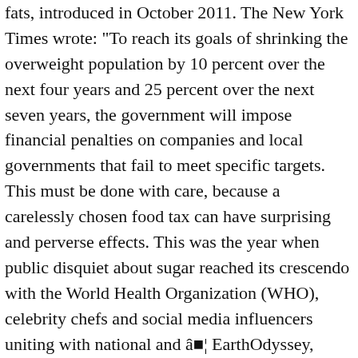fats, introduced in October 2011. The New York Times wrote: "To reach its goals of shrinking the overweight population by 10 percent over the next four years and 25 percent over the next seven years, the government will impose financial penalties on companies and local governments that fail to meet specific targets. This must be done with care, because a carelessly chosen food tax can have surprising and perverse effects. This was the year when public disquiet about sugar reached its crescendo with the World Health Organization (WHO), celebrity chefs and social media influencers uniting with national and â�¦ EarthOdyssey, LLC, is a company in the business of innovation. In Denmark, the tax might have become too unpopular because it was seen as hurting food businesses. [33], Mette Gjerskov, the Danish minister of food, agriculture and fisheries,